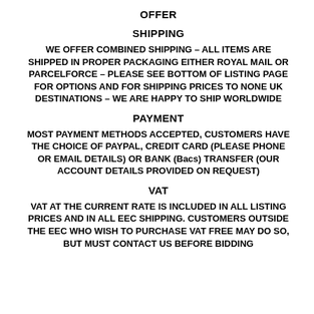OFFER
SHIPPING
WE OFFER COMBINED SHIPPING – ALL ITEMS ARE SHIPPED IN PROPER PACKAGING EITHER ROYAL MAIL OR PARCELFORCE – PLEASE SEE BOTTOM OF LISTING PAGE FOR OPTIONS AND FOR SHIPPING PRICES TO NONE UK DESTINATIONS – WE ARE HAPPY TO SHIP WORLDWIDE
PAYMENT
MOST PAYMENT METHODS ACCEPTED, CUSTOMERS HAVE THE CHOICE OF PAYPAL, CREDIT CARD (PLEASE PHONE OR EMAIL DETAILS) OR BANK (Bacs) TRANSFER (OUR ACCOUNT DETAILS PROVIDED ON REQUEST)
VAT
VAT AT THE CURRENT RATE IS INCLUDED IN ALL LISTING PRICES AND IN ALL EEC SHIPPING. CUSTOMERS OUTSIDE THE EEC WHO WISH TO PURCHASE VAT FREE MAY DO SO, BUT MUST CONTACT US BEFORE BIDDING